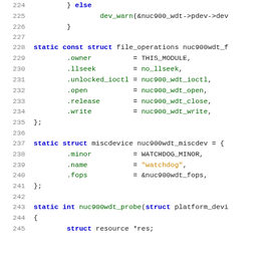[Figure (screenshot): Source code listing showing C code for Linux kernel watchdog driver (nuc900 wdt), lines 224-245, with syntax highlighting. Blue bold keywords, green function/field names, orange string literals, grey line numbers.]